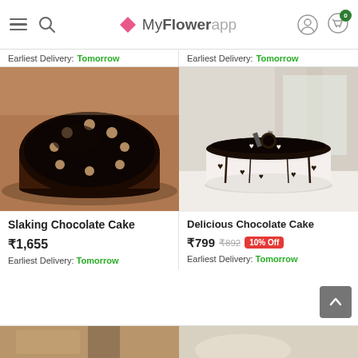MyFlowerapp — navigation header with hamburger, search, logo, user icon, cart (0)
Earliest Delivery: Tomorrow
Earliest Delivery: Tomorrow
[Figure (photo): Slaking Chocolate Cake — dark chocolate cake with mocha cream rosettes on top, on wooden board]
[Figure (photo): Delicious Chocolate Cake — white cake with dark chocolate ganache top, white chocolate hearts on sides]
Slaking Chocolate Cake
₹1,655
Earliest Delivery: Tomorrow
Delicious Chocolate Cake
₹799  ₹892  10% Off
Earliest Delivery: Tomorrow
[Figure (photo): Partial view of a cake product at bottom left]
[Figure (photo): Partial view of a cake product at bottom right]